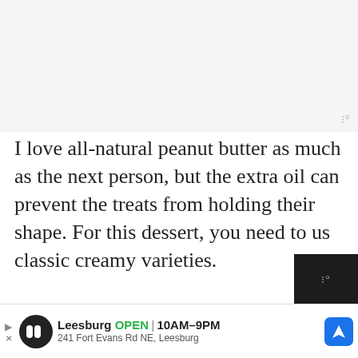[Figure (photo): Light gray blank/placeholder image area at top of page]
I love all-natural peanut butter as much as the next person, but the extra oil can prevent the treats from holding their shape. For this dessert, you need to use classic creamy varieties.
[Figure (photo): Partial photo of peanut butter cookies and chocolate at bottom of page]
[Figure (infographic): What's Next panel showing Chewy Peanut Butter... with thumbnail]
Leesburg OPEN 10AM–9PM 241 Fort Evans Rd NE, Leesburg